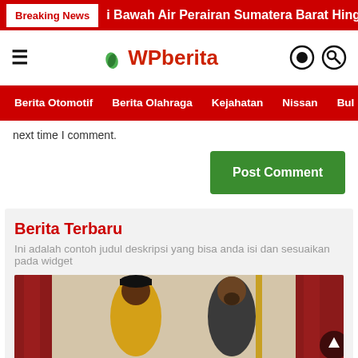Breaking News | Bawah Air Perairan Sumatera Barat Hing
WPberita
Berita Otomotif | Berita Olahraga | Kejahatan | Nissan | Bul
next time I comment.
Post Comment
Berita Terbaru
Ini adalah contoh judul deskripsi yang bisa anda isi dan sesuaikan pada widget
[Figure (photo): Photo of two men standing together in an indoor setting with red curtains and a flagpole visible in the background.]